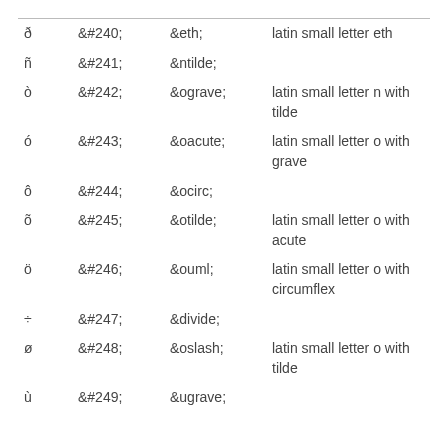| ð | &#240; | &eth; | latin small letter eth |
| ñ | &#241; | &ntilde; | latin small letter n with tilde |
| ò | &#242; | &ograve; |  |
| ó | &#243; | &oacute; | latin small letter o with grave |
| ô | &#244; | &ocirc; |  |
| õ | &#245; | &otilde; | latin small letter o with acute |
| ö | &#246; | &ouml; | latin small letter o with circumflex |
| ÷ | &#247; | &divide; |  |
| ø | &#248; | &oslash; | latin small letter o with tilde |
| ù | &#249; | &ugrave; |  |